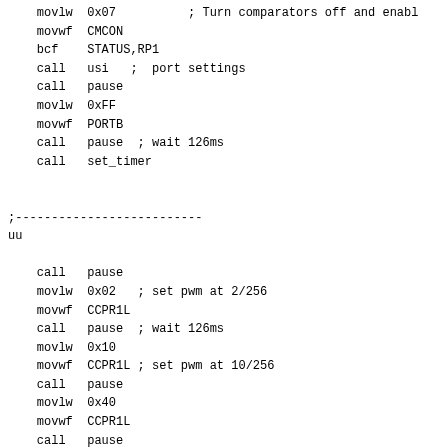movlw  0x07          ; Turn comparators off and enabl
    movwf  CMCON
    bcf    STATUS,RP1
    call   usi   ;  port settings
    call   pause
    movlw  0xFF
    movwf  PORTB
    call   pause  ; wait 126ms
    call   set_timer

;--------------------------
uu

    call   pause
    movlw  0x02   ; set pwm at 2/256
    movwf  CCPR1L
    call   pause  ; wait 126ms
    movlw  0x10
    movwf  CCPR1L ; set pwm at 10/256
    call   pause
    movlw  0x40
    movwf  CCPR1L
    call   pause
    movlw  0x80
    movwf  CCPR1L
    call   pause
    movlw  0xFF   ; max. power
    movwf  CCPR1L